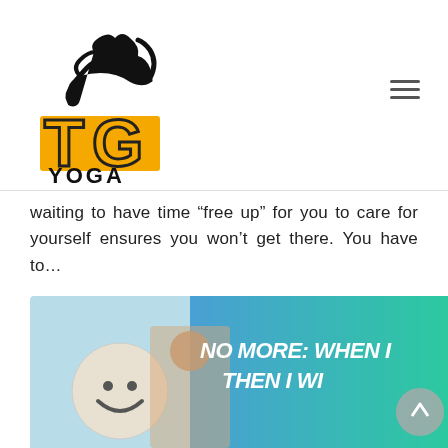[Figure (logo): TG Yoga logo: silhouette of a person doing a yoga pose above large yellow bold letters 'TG' with black outline, and 'YOGA' in black below]
waiting to have time “free up” for you to care for yourself ensures you won’t get there. You have to…
[Figure (photo): Banner image with a blue-green gradient background on the right side showing bold white italic text 'NO MORE: WHEN I THEN I WI...' (truncated), and on the left a photo of a smiling woman with a smiley face design element, suggesting a blog post about dropping 'when I, then I will' thinking]